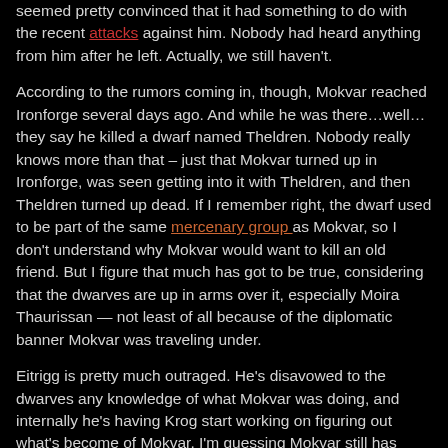seemed pretty convinced that it had something to do with the recent attacks against him. Nobody had heard anything from him after he left. Actually, we still haven't.
According to the rumors coming in, though, Mokvar reached Ironforge several days ago. And while he was there…well…they say he killed a dwarf named Theldren. Nobody really knows more than that – just that Mokvar turned up in Ironforge, was seen getting into it with Theldren, and then Theldren turned up dead. If I remember right, the dwarf used to be part of the same mercenary group as Mokvar, so I don't understand why Mokvar would want to kill an old friend. But I figure that much has got to be true, considering that the dwarves are up in arms over it, especially Moira Thaurissan — not least of all because of the diplomatic banner Mokvar was traveling under.
Eitrigg is pretty much outraged. He's disavowed to the dwarves any knowledge of what Mokvar was doing, and internally he's having Krog start working on figuring out what's become of Mokvar. I'm guessing Mokvar still has Garona shadowing him too, but she hasn't checked in for a while, so no help finding him there.
Honestly, I don't even know what to hope for. On the one hand, if